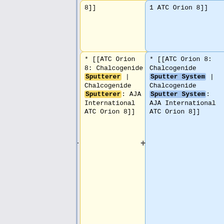8]]
1 ATC Orion 8]]
* [[ATC Orion 8: Chalcogenide Sputterer | Chalcogenide Sputterer: AJA International ATC Orion 8]]
* [[ATC Orion 8: Chalcogenide Sputter System | Chalcogenide Sputter System: AJA International ATC Orion 8]]
===== Chemical Vapor Deposition (CVD) =====
===== Chemical Vapor Deposition (CVD) =====